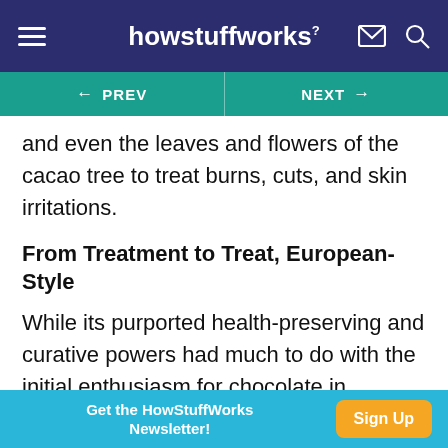howstuffworks
← PREV   NEXT →
and even the leaves and flowers of the cacao tree to treat burns, cuts, and skin irritations.
From Treatment to Treat, European-Style
While its purported health-preserving and curative powers had much to do with the initial enthusiasm for chocolate in countries across Europe, its new and unique flavor and unheard-of energizing effects (chocolate arrived in Europe at about the same time as coffee and tea, giving Europeans their first
Get the HowStuffWorks Newsletter! Sign Up